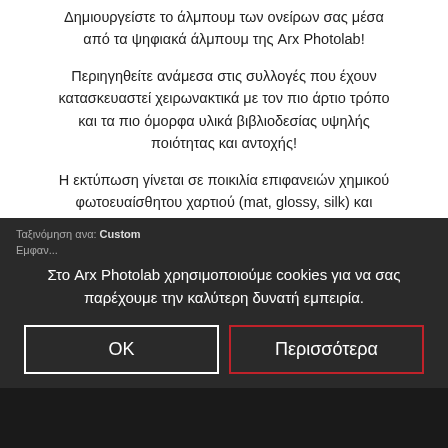Δημιουργείστε το άλμπουμ των ονείρων σας μέσα από τα ψηφιακά άλμπουμ της Arx Photolab!
Περιηγηθείτε ανάμεσα στις συλλογές που έχουν κατασκευαστεί χειρωνακτικά με τον πιο άρτιο τρόπο και τα πιο όμορφα υλικά βιβλιοδεσίας υψηλής ποιότητας και αντοχής!
Η εκτύπωση γίνεται σε ποικιλία επιφανειών χημικού φωτοευαίσθητου χαρτιού (mat, glossy, silk) και διαφορετικά μεγέθη από 10*30 έως 40*90εκ. Υπάρχει δυνατότητα εκτύπωσης με color profile για μέγιστη χρωματική πιστότητα.
[Figure (other): Red circular badge with white text '360 Tour']
Ταξινόμηση ανα: Custom
Στο Arx Photolab χρησιμοποιούμε cookies για να σας παρέχουμε την καλύτερη δυνατή εμπειρία.
OK
Περισσότερα